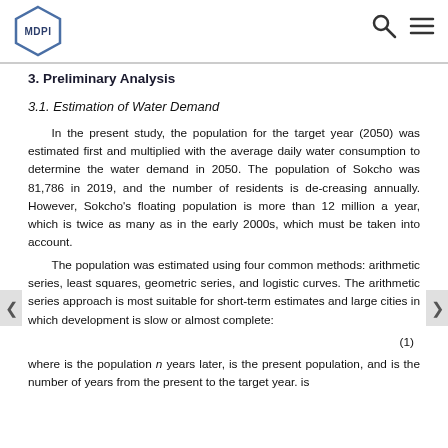MDPI
3. Preliminary Analysis
3.1. Estimation of Water Demand
In the present study, the population for the target year (2050) was estimated first and multiplied with the average daily water consumption to determine the water demand in 2050. The population of Sokcho was 81,786 in 2019, and the number of residents is de-creasing annually. However, Sokcho's floating population is more than 12 million a year, which is twice as many as in the early 2000s, which must be taken into account.
The population was estimated using four common methods: arithmetic series, least squares, geometric series, and logistic curves. The arithmetic series approach is most suitable for short-term estimates and large cities in which development is slow or almost complete:
where is the population n years later, is the present population, and is the number of years from the present to the target year. is